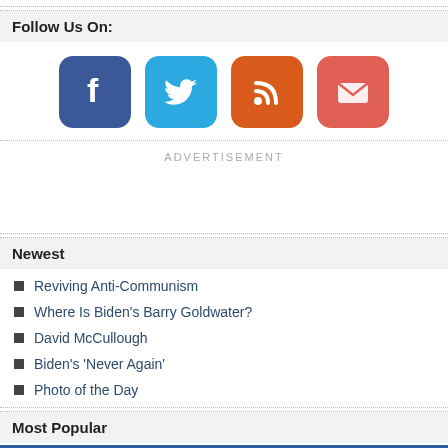Follow Us On:
[Figure (illustration): Social media icons: Facebook (blue), Twitter (light blue), RSS (orange), Mail (red/salmon)]
ADVERTISEMENT
Newest
Reviving Anti-Communism
Where Is Biden's Barry Goldwater?
David McCullough
Biden's 'Never Again'
Photo of the Day
Most Popular
Where Is Biden's Barry Goldwater?